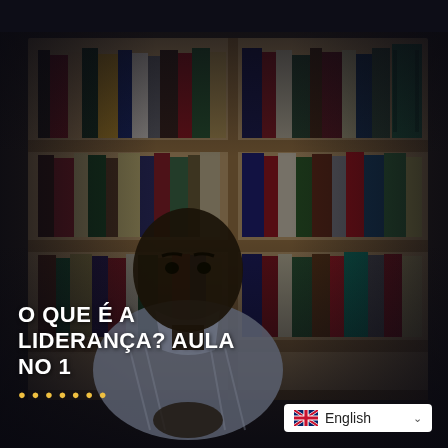[Figure (photo): A young man in a light blue striped shirt sits in front of a large wooden bookshelf filled with books of various colors. The scene is a video thumbnail with a dark overlay. Text overlaid at bottom-left reads 'O QUE É A LIDERANÇA? AULA NO 1' in white bold uppercase. A language selector showing 'English' with a UK flag is visible at bottom-right.]
O QUE É A LIDERANÇA? AULA NO 1
English